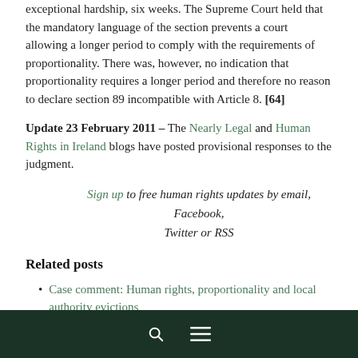exceptional hardship, six weeks. The Supreme Court held that the mandatory language of the section prevents a court allowing a longer period to comply with the requirements of proportionality. There was, however, no indication that proportionality requires a longer period and therefore no reason to declare section 89 incompatible with Article 8. [64]
Update 23 February 2011 – The Nearly Legal and Human Rights in Ireland blogs have posted provisional responses to the judgment.
Sign up to free human rights updates by email, Facebook, Twitter or RSS
Related posts
Case comment: Human rights, proportionality and local authority evictions
search menu icons